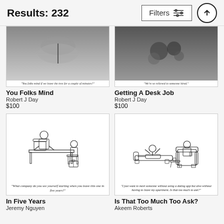Results: 232
[Figure (illustration): Cartoon illustration partially visible at top - 'You Folks Mind' by Robert J Day]
[Figure (illustration): Cartoon illustration partially visible at top - 'Getting A Desk Job' by Robert J Day]
You Folks Mind
Robert J Day
$100
Getting A Desk Job
Robert J Day
$100
[Figure (illustration): Cartoon of job interview scene at desk with caption: 'What company do you see yourself starting when you leave this one in five years?' - 'In Five Years' by Jeremy Nguyen]
[Figure (illustration): Cartoon of two people on couch/chair scene with caption: 'I just want to meet someone without using a dating app but also without having to leave my apartment. Is that too much to ask?' - 'Is That Too Much Too Ask?' by Akeem Roberts]
In Five Years
Jeremy Nguyen
Is That Too Much Too Ask?
Akeem Roberts